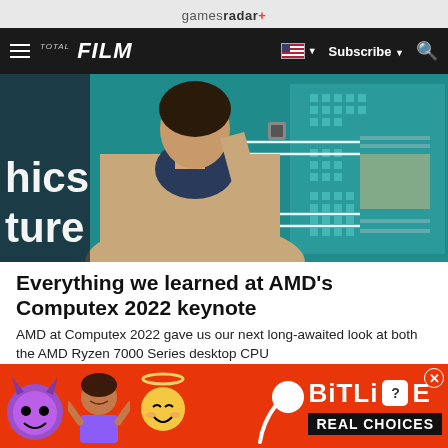gamesradar+
FILM | Subscribe | Search
[Figure (photo): A woman in a beige blazer holding a small chip/component at a presentation, with a teal background showing chip architecture graphics and text 'hics' and 'ture' visible on left side]
Everything we learned at AMD's Computex 2022 keynote
AMD at Computex 2022 gave us our next long-awaited look at both the AMD Ryzen 7000 Series desktop CPU
[Figure (illustration): BitLife advertisement banner with emoji characters (devil, woman shrugging, angel face) on red/orange background, BitLife logo with question mark icon, REAL CHOICES text on black background]